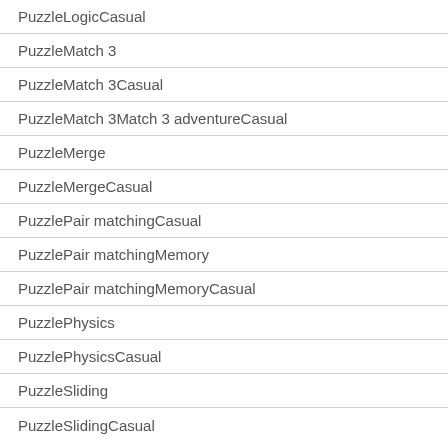PuzzleLogicCasual
PuzzleMatch 3
PuzzleMatch 3Casual
PuzzleMatch 3Match 3 adventureCasual
PuzzleMerge
PuzzleMergeCasual
PuzzlePair matchingCasual
PuzzlePair matchingMemory
PuzzlePair matchingMemoryCasual
PuzzlePhysics
PuzzlePhysicsCasual
PuzzleSliding
PuzzleSlidingCasual